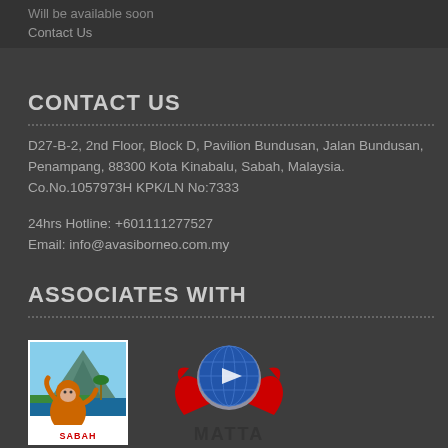Will be available soon
Contact Us
CONTACT US
D27-B-2, 2nd Floor, Block D, Pavilion Bundusan, Jalan Bundusan, Penampang, 88300 Kota Kinabalu, Sabah, Malaysia.
Co.No.1057973H KPK/LN No:7333
24hrs Hotline: +601111277527
Email: info@avasiborneo.com.my
ASSOCIATES WITH
[Figure (logo): Sabah Tourism logo featuring an orangutan against a tropical landscape with mountain and sea, text reads SABAH TOURISM at bottom]
[Figure (logo): MATTA logo featuring a blue globe with arrow on red hands/wings, text reads MATTA below]